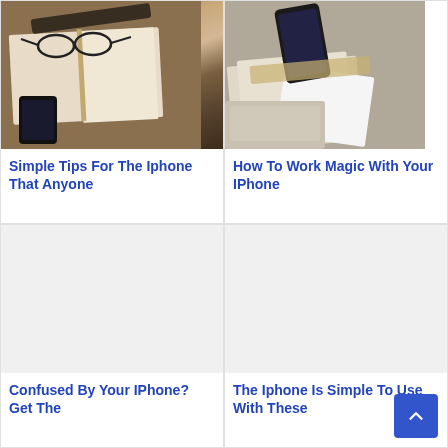[Figure (photo): Open book with glasses and smartphone on wooden table]
Simple Tips For The Iphone That Anyone
[Figure (photo): Smartphone and laptop on desk with notebook]
How To Work Magic With Your IPhone
[Figure (photo): Placeholder image for iPhone article]
Confused By Your IPhone? Get The
[Figure (photo): Placeholder image for iPhone article]
The Iphone Is Simple To Use With These